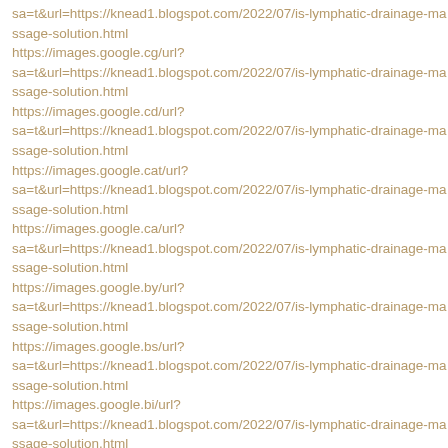sa=t&url=https://knead1.blogspot.com/2022/07/is-lymphatic-drainage-massage-solution.html
https://images.google.cg/url?sa=t&url=https://knead1.blogspot.com/2022/07/is-lymphatic-drainage-massage-solution.html
https://images.google.cd/url?sa=t&url=https://knead1.blogspot.com/2022/07/is-lymphatic-drainage-massage-solution.html
https://images.google.cat/url?sa=t&url=https://knead1.blogspot.com/2022/07/is-lymphatic-drainage-massage-solution.html
https://images.google.ca/url?sa=t&url=https://knead1.blogspot.com/2022/07/is-lymphatic-drainage-massage-solution.html
https://images.google.by/url?sa=t&url=https://knead1.blogspot.com/2022/07/is-lymphatic-drainage-massage-solution.html
https://images.google.bs/url?sa=t&url=https://knead1.blogspot.com/2022/07/is-lymphatic-drainage-massage-solution.html
https://images.google.bi/url?sa=t&url=https://knead1.blogspot.com/2022/07/is-lymphatic-drainage-massage-solution.html
https://images.google.bg/url?sa=t&url=https://knead1.blogspot.com/2022/07/is-lymphatic-drainage-massage-solution.html